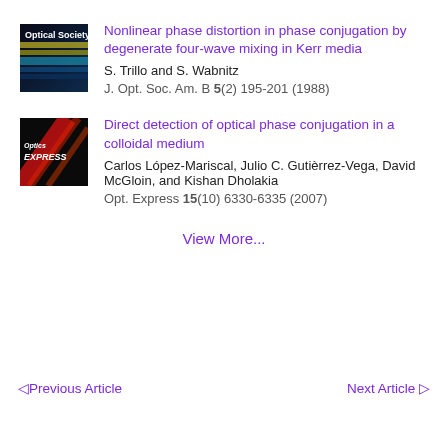[Figure (other): Journal cover thumbnail for J. Opt. Soc. Am. B]
Nonlinear phase distortion in phase conjugation by degenerate four-wave mixing in Kerr media
S. Trillo and S. Wabnitz
J. Opt. Soc. Am. B 5(2) 195-201 (1988)
[Figure (other): Journal cover thumbnail for Optics Express]
Direct detection of optical phase conjugation in a colloidal medium
Carlos López-Mariscal, Julio C. Gutièrrez-Vega, David McGloin, and Kishan Dholakia
Opt. Express 15(10) 6330-6335 (2007)
View More...
◁ Previous Article
Next Article ▷